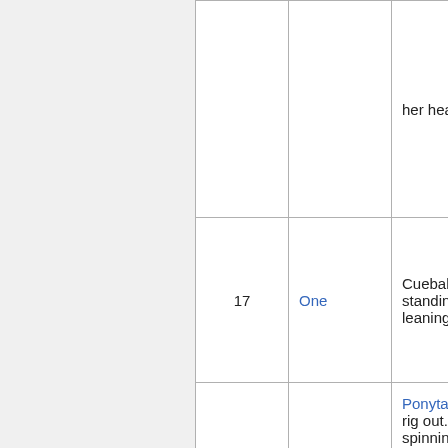| # | Characters | Description |
| --- | --- | --- |
|  |  | her heart |
| 17 | One | Cueball standing a leaning |
| 18 | One | Ponytail sitting rig out. She is spinnin in an office chair a with several circlin |